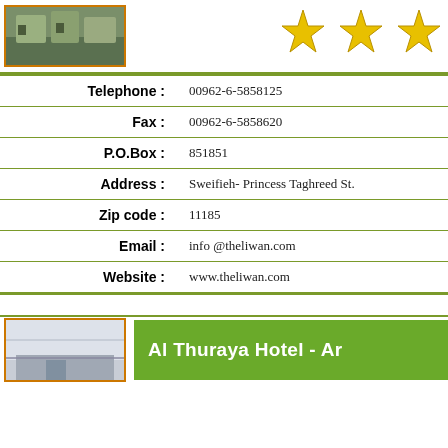[Figure (photo): Hotel exterior photo thumbnail at top left with orange border]
[Figure (illustration): Three gold stars rating displayed at top right]
| Label | Value |
| --- | --- |
| Telephone : | 00962-6-5858125 |
| Fax : | 00962-6-5858620 |
| P.O.Box : | 851851 |
| Address : | Sweifieh- Princess Taghreed St. |
| Zip code : | 11185 |
| Email : | info @theliwan.com |
| Website : | www.theliwan.com |
[Figure (photo): Hotel interior photo thumbnail at bottom left with orange border]
Al Thuraya Hotel - Ar